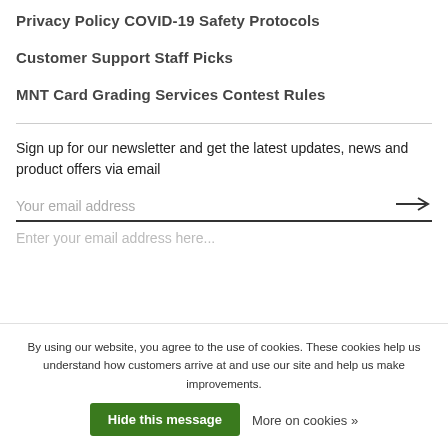Privacy Policy
COVID-19 Safety Protocols
Customer Support
Staff Picks
MNT Card Grading Services
Contest Rules
Sign up for our newsletter and get the latest updates, news and product offers via email
Your email address
By using our website, you agree to the use of cookies. These cookies help us understand how customers arrive at and use our site and help us make improvements.
Hide this message
More on cookies »